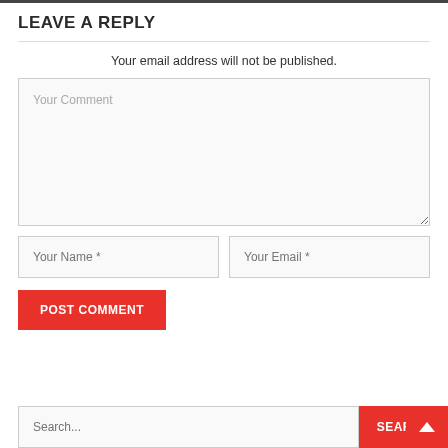LEAVE A REPLY
Your email address will not be published.
[Figure (screenshot): Web form with Your Comment textarea, Your Name and Your Email input fields, POST COMMENT button, and a Search bar at the bottom with SEAR(CH) button and scroll-to-top arrow button]